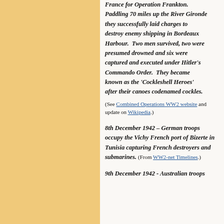France for Operation Frankton. Paddling 70 miles up the River Gironde they successfully laid charges to destroy enemy shipping in Bordeaux Harbour.  Two men survived, two were presumed drowned and six were captured and executed under Hitler's Commando Order.  They became known as the 'Cockleshell Heroes' after their canoes codenamed cockles.
(See Combined Operations WW2 website and update on Wikipedia.)
8th December 1942 – German troops occupy the Vichy French port of Bizerte in Tunisia capturing French destroyers and submarines. (From WW2-net Timelines.)
9th December 1942 - Australian troops